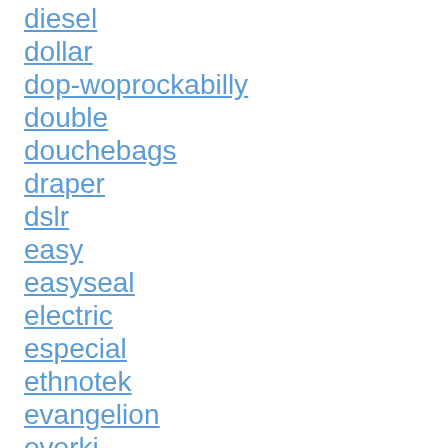diesel
dollar
dop-woprockabilly
double
douchebags
draper
dslr
easy
easyseal
electric
especial
ethnotek
evangelion
everki
evervanz
evesham
exped